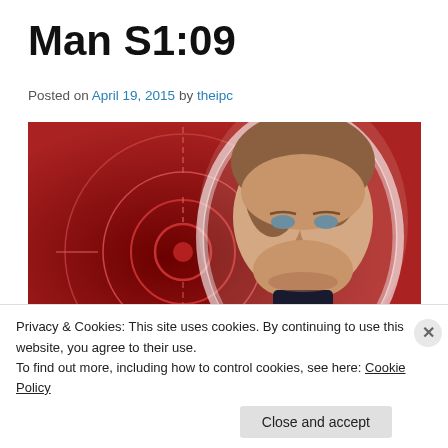Man S1:09
Posted on April 19, 2015 by theipc
[Figure (photo): Promotional image of a man against a red background with circular target/crosshair graphics. The man has brown hair and is wearing a dark suit. The background features concentric circles and crosshairs in a red/burgundy color.]
Privacy & Cookies: This site uses cookies. By continuing to use this website, you agree to their use.
To find out more, including how to control cookies, see here: Cookie Policy
Close and accept